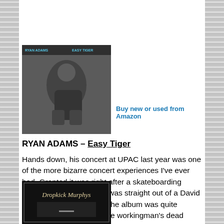[Figure (photo): Ryan Adams - Easy Tiger album cover, black and white photo of person crouching]
Buy new or used from Amazon
RYAN ADAMS – Easy Tiger
Hands down, his concert at UPAC last year was one of the more bizarre concert experiences I've ever had. Granted it was right after a skateboarding accident, but the concert was straight out of a David Lynch movie. Thankfully, the album was quite redeeming as he's kept the workingman's dead approach to the songs.
[Figure (photo): Dropkick Murphys album cover, dark with text]